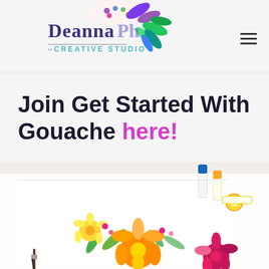[Figure (logo): Deanna [last name] Creative Studio logo with colorful watercolor flowers and leaves, paintbrushes, and palette]
Join Get Started With Gouache here!
[Figure (photo): A white sheet of paper with colorful gouache floral painting showing yellow, orange, pink, and magenta flowers with green leaves, alongside paint tubes and a paintbrush on a white surface]